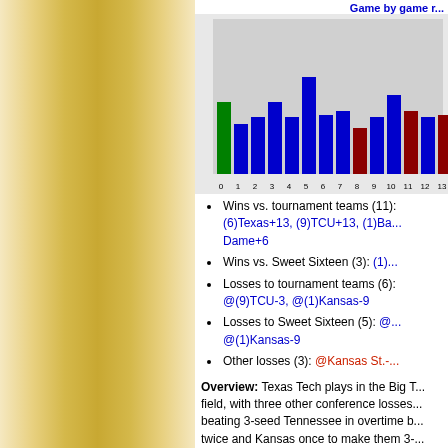[Figure (bar-chart): Game by game r...]
Wins vs. tournament teams (11): (6)Texas+13, (9)TCU+13, (1)Ba... Dame+6
Wins vs. Sweet Sixteen (3): (1)...
Losses to tournament teams (6): @(9)TCU-3, @(1)Kansas-9
Losses to Sweet Sixteen (5): @... @(1)Kansas-9
Other losses (3): @Kansas St.-...
Overview: Texas Tech plays in the Big T... field, with three other conference losses... beating 3-seed Tennessee in overtime b... twice and Kansas once to make them 3-...
Looking at their last 6 games you can im... with a overtime the 73-44 win...